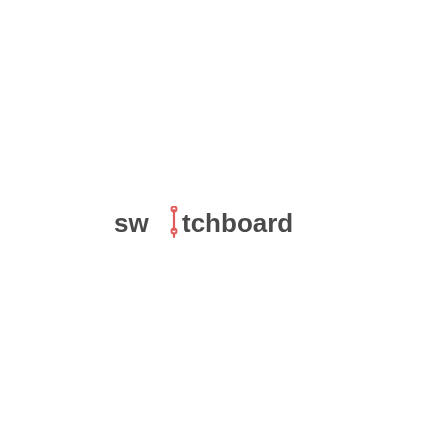[Figure (logo): Switchboard logo: the word 'switchboard' in dark gray bold sans-serif font with the letter 'i' replaced by a red/coral colored circuit switch icon consisting of a vertical line with two circles at top and bottom and a diagonal connector line in the middle.]